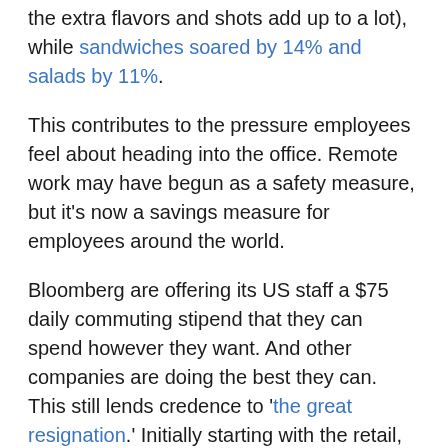the extra flavors and shots add up to a lot), while sandwiches soared by 14% and salads by 11%.
This contributes to the pressure employees feel about heading into the office. Remote work may have begun as a safety measure, but it's now a savings measure for employees around the world.
Bloomberg are offering its US staff a $75 daily commuting stipend that they can spend however they want. And other companies are doing the best they can. This still lends credence to 'the great resignation.' Initially starting with the retail, food service, and hospitality sectors which were hard hit during the pandemic, it has since spread to other industries. By September 2021, the US Bureau of Labor Statistics reported 4.4 million resignations.
That's where the most critical question lies, work